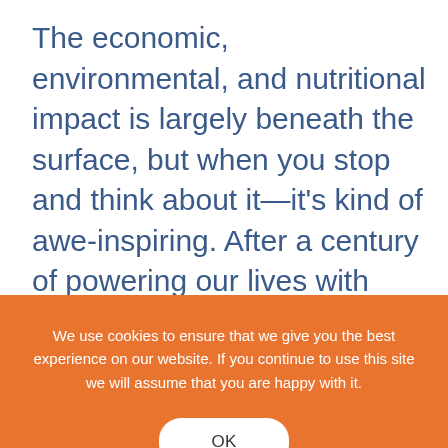The economic, environmental, and nutritional impact is largely beneath the surface, but when you stop and think about it—it's kind of awe-inspiring. After a century of powering our lives with energy from big, centralized fossil-fuel power plants and oil tankers from the Middle East, millions of Americans are now getting electricity from their rooftops and powering their cars at home. We're
We use cookies to ensure that we give you the best experience on our website. If you continue to use this site we will assume that you are happy with it.